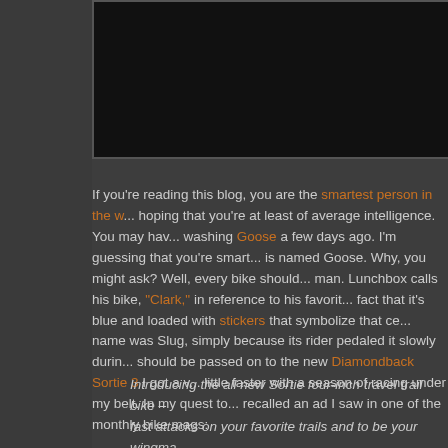[Figure (photo): Dark/black image area at top of page, partially visible]
If you're reading this blog, you are the smartest person in the w... hoping that you're at least of average intelligence. You may hav... washing Goose a few days ago. I'm guessing that you're smart... is named Goose. Why, you might ask? Well, every bike should... man. Lunchbox calls his bike, "Clark," in reference to his favorit... fact that it's blue and loaded with stickers that symbolize that ce... name was Slug, simply because its rider pedaled it slowly durin... should be passed on to the new Diamondback Sortie 3 I got a v... little faster with a season of racing under my belt. In my quest to... recalled an ad I saw in one of the monthly bike mags:
Introducing the all new Sortie four-inch travel trail bike – fast attacks on your favorite trails and to be your wingma... series includes three different models, all built on the sa... mission-proven low center of gravity Knuckle Box suspe...